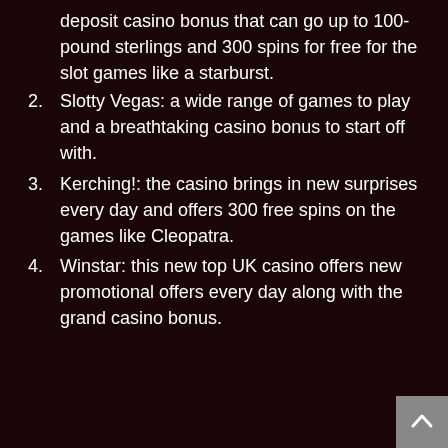deposit casino bonus that can go up to 100-pound sterlings and 300 spins for free for the slot games like a starburst.
Slotty Vegas: a wide range of games to play and a breathtaking casino bonus to start off with.
Kerching!: the casino brings in new surprises every day and offers 300 free spins on the games like Cleopatra.
Winstar: this new top UK casino offers new promotional offers every day along with the grand casino bonus.